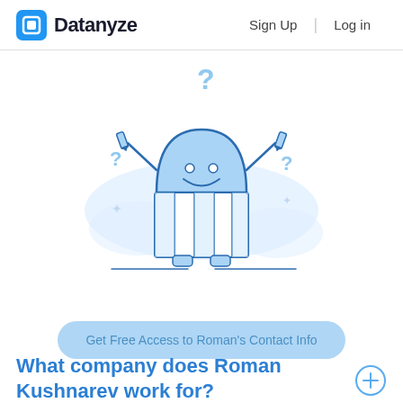[Figure (logo): Datanyze logo with blue rounded square icon and bold text 'Datanyze']
Sign Up
Log in
[Figure (illustration): Cartoon robot/mascot reading a large book/document with question marks floating around it, in blue line-art style on white background]
Get Free Access to Roman's Contact Info
What company does Roman Kushnarev work for?